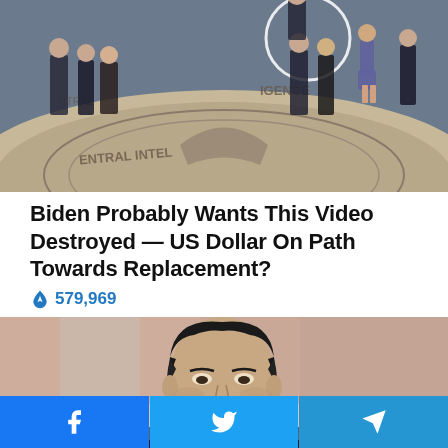[Figure (photo): Group of people standing on CIA headquarters lobby floor with the CIA seal/eagle emblem visible on the ground]
Biden Probably Wants This Video Destroyed — US Dollar On Path Towards Replacement?
🔥 579,969
[Figure (photo): Close-up portrait photo of a man in a dark suit with dark hair looking slightly upward, set against a blurred pink/beige background]
Facebook | Twitter | Telegram share buttons